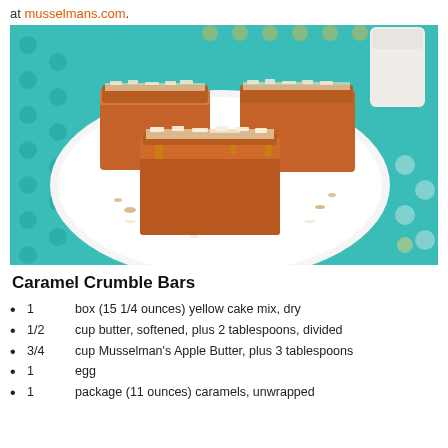at musselmans.com.
[Figure (photo): Three square caramel crumble bars topped with shredded coconut and chopped nuts on a white plate, placed on a teal polka-dot cloth with a glass of milk in the background.]
Caramel Crumble Bars
1   box (15 1/4 ounces) yellow cake mix, dry
1/2   cup butter, softened, plus 2 tablespoons, divided
3/4   cup Musselman's Apple Butter, plus 3 tablespoons
1   egg
1   package (11 ounces) caramels, unwrapped